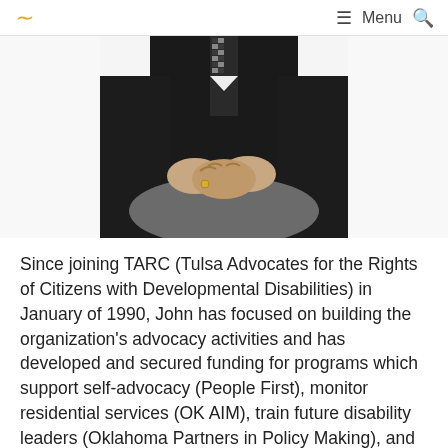~ Menu 🔍
[Figure (photo): A person in a dark blazer and checkered tie, seated with hands clasped together on their lap, viewed from mid-torso down.]
Since joining TARC (Tulsa Advocates for the Rights of Citizens with Developmental Disabilities) in January of 1990, John has focused on building the organization's advocacy activities and has developed and secured funding for programs which support self-advocacy (People First), monitor residential services (OK AIM), train future disability leaders (Oklahoma Partners in Policy Making), and provide volunteer guardianship services